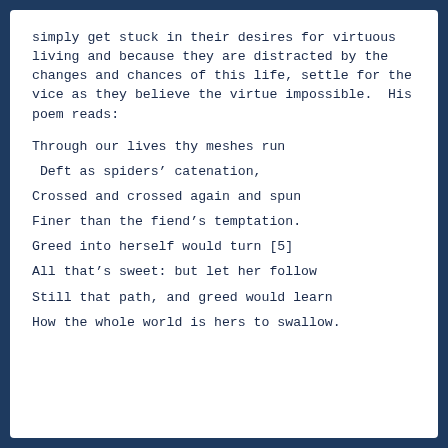simply get stuck in their desires for virtuous living and because they are distracted by the changes and chances of this life, settle for the vice as they believe the virtue impossible.  His poem reads:
Through our lives thy meshes run
Deft as spiders’ catenation,
Crossed and crossed again and spun
Finer than the fiend’s temptation.
Greed into herself would turn [5]
All that’s sweet: but let her follow
Still that path, and greed would learn
How the whole world is hers to swallow.